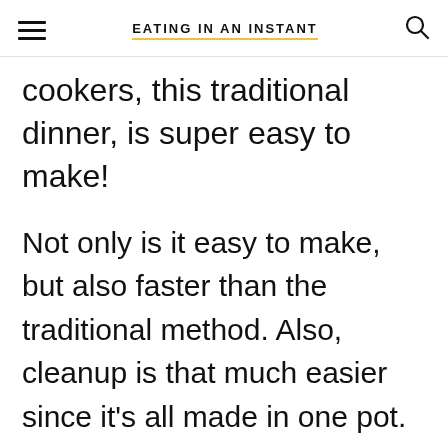EATING IN AN INSTANT
cookers, this traditional dinner, is super easy to make!
Not only is it easy to make, but also faster than the traditional method. Also, cleanup is that much easier since it’s all made in one pot.
Give it a try, and you may never